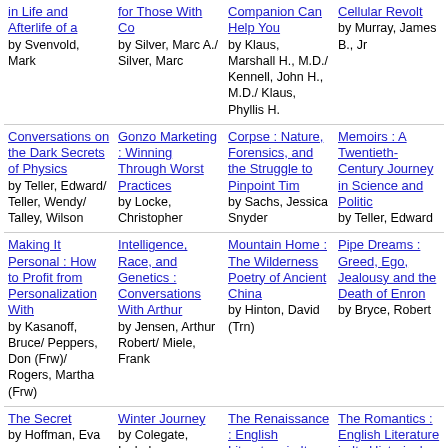in Life and Afterlife of a by Svenvold, Mark
for Those With Co by Silver, Marc A./ Silver, Marc
Companion Can Help You by Klaus, Marshall H., M.D./ Kennell, John H., M.D./ Klaus, Phyllis H.
Cellular Revolt by Murray, James B., Jr
Conversations on the Dark Secrets of Physics by Teller, Edward/ Teller, Wendy/ Talley, Wilson
Gonzo Marketing : Winning Through Worst Practices by Locke, Christopher
Corpse : Nature, Forensics, and the Struggle to Pinpoint Tim by Sachs, Jessica Snyder
Memoirs : A Twentieth-Century Journey in Science and Politic by Teller, Edward
Making It Personal : How to Profit from Personalization With by Kasanoff, Bruce/ Peppers, Don (Frw)/ Rogers, Martha (Frw)
Intelligence, Race, and Genetics : Conversations With Arthur by Jensen, Arthur Robert/ Miele, Frank
Mountain Home : The Wilderness Poetry of Ancient China by Hinton, David (Trn)
Pipe Dreams : Greed, Ego, Jealousy and the Death of Enron by Bryce, Robert
The Secret by Hoffman, Eva
Winter Journey by Colegate, Isabel
The Renaissance : English Literature in Its
The Romantics : English Literature in Its Historical,